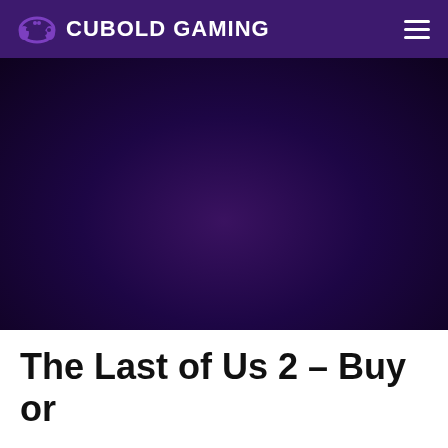CUBOLD GAMING
[Figure (screenshot): Dark purple hero/banner image area with radial gradient background, very dark purple tones]
The Last of Us 2 – Buy or